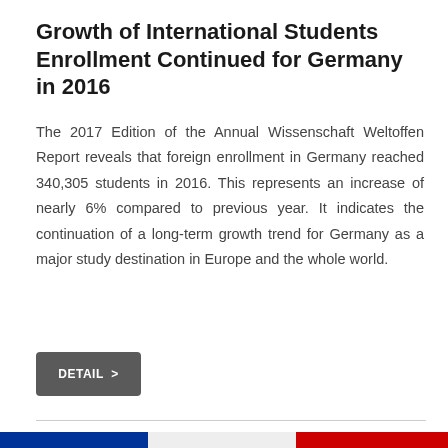Growth of International Students Enrollment Continued for Germany in 2016
The 2017 Edition of the Annual Wissenschaft Weltoffen Report reveals that foreign enrollment in Germany reached 340,305 students in 2016. This represents an increase of nearly 6% compared to previous year. It indicates the continuation of a long-term growth trend for Germany as a major study destination in Europe and the whole world.
DETAIL >
[Figure (photo): Bottom strip showing a tricolor band (blue, white/grey, red) representing flags or a decorative banner at the bottom of the page.]